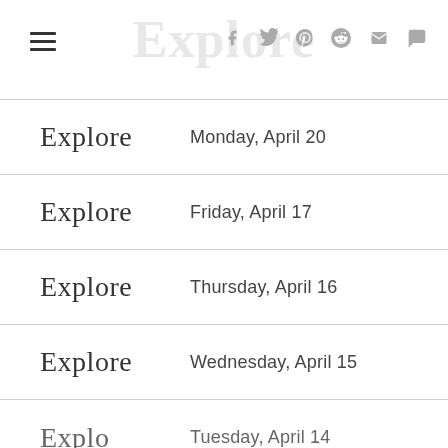Explore — navigation header with social icons
Explore  Monday, April 20
Explore  Friday, April 17
Explore  Thursday, April 16
Explore  Wednesday, April 15
Explore  Tuesday, April 14